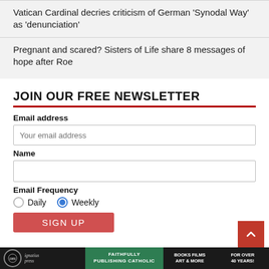Vatican Cardinal decries criticism of German 'Synodal Way' as 'denunciation'
Pregnant and scared? Sisters of Life share 8 messages of hope after Roe
JOIN OUR FREE NEWSLETTER
Email address
Name
Email Frequency
Daily    Weekly
SIGN UP
Ignatius Press   FAITHFULLY PUBLISHING CATHOLIC   BOOKS FILMS ART & MORE   FOR OVER 40 YEARS!